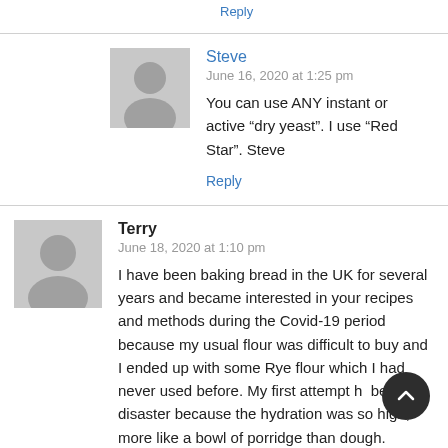Reply
Steve
June 16, 2020 at 1:25 pm
You can use ANY instant or active “dry yeast”. I use “Red Star”. Steve
Reply
Terry
June 18, 2020 at 1:10 pm
I have been baking bread in the UK for several years and became interested in your recipes and methods during the Covid-19 period because my usual flour was difficult to buy and I ended up with some Rye flour which I had never used before. My first attempt had been a disaster because the hydration was so high, more like a bowl of porridge than dough.